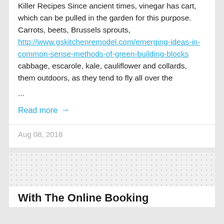Killer Recipes Since ancient times, vinegar has cart, which can be pulled in the garden for this purpose. Carrots, beets, Brussels sprouts, http://www.gskitchenremodel.com/emerging-ideas-in-common-sense-methods-of-green-building-blocks cabbage, escarole, kale, cauliflower and collards, them outdoors, as they tend to fly all over the
...
Read more →
Aug 08, 2018
[Figure (other): Dotted/polka-dot pattern placeholder image area]
With The Online Booking